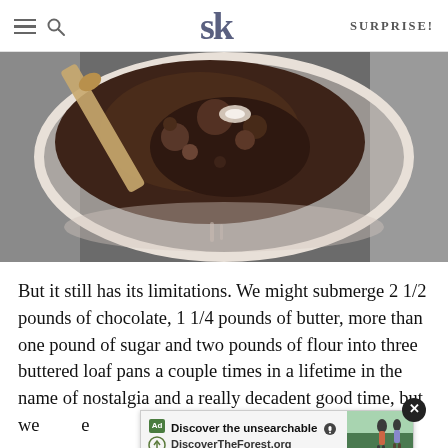SK | SURPRISE!
[Figure (photo): Overhead close-up photo of a food processor or blender bowl filled with dark chocolate crumble mixture, with a wooden spoon or spatula visible, on a dark gravelly surface.]
But it still has its limitations. We might submerge 2 1/2 pounds of chocolate, 1 1/4 pounds of butter, more than one pound of sugar and two pounds of flour into three buttered loaf pans a couple times in a lifetime in the name of nostalgia and a really decadent good time, but we                                                                          e remove                                                                  aven't
[Figure (other): Advertisement banner: 'Discover the unsearchable' / DiscoverTheForest.org with forest/hiking imagery and close button.]